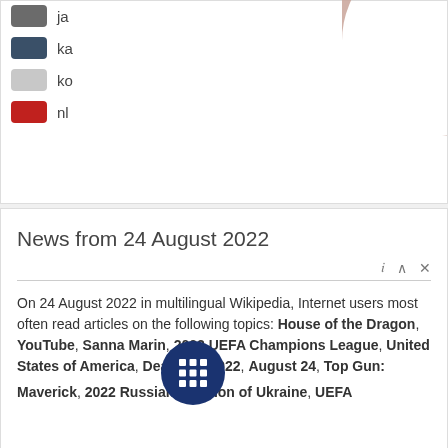[Figure (donut-chart): Partial view of a donut chart showing a large pinkish-beige slice labeled 57.92%. Legend entries visible: ja (dark gray), ka (dark blue-gray), ko (light gray), nl (red).]
News from 24 August 2022
On 24 August 2022 in multilingual Wikipedia, Internet users most often read articles on the following topics: House of the Dragon, YouTube, Sanna Marin, 2022 UEFA Champions League, United States of America, Deaths in 2022, August 24, Top Gun: Maverick, 2022 Russian invasion of Ukraine, UEFA